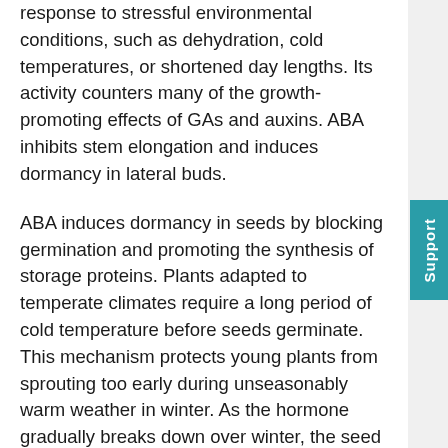response to stressful environmental conditions, such as dehydration, cold temperatures, or shortened day lengths. Its activity counters many of the growth-promoting effects of GAs and auxins. ABA inhibits stem elongation and induces dormancy in lateral buds.
ABA induces dormancy in seeds by blocking germination and promoting the synthesis of storage proteins. Plants adapted to temperate climates require a long period of cold temperature before seeds germinate. This mechanism protects young plants from sprouting too early during unseasonably warm weather in winter. As the hormone gradually breaks down over winter, the seed is released from dormancy and germinates when conditions are favorable in spring. Another effect of ABA is to promote the development of winter buds; it mediates the conversion of the apical meristem into a dormant bud. Low soil moisture